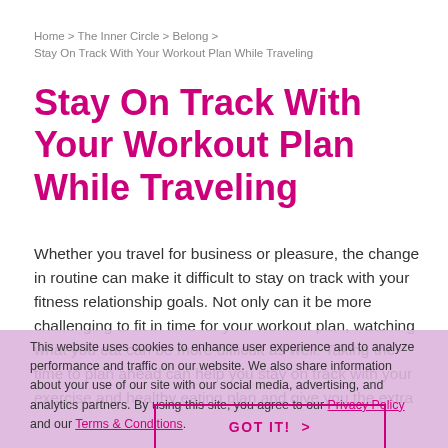Home > The Inner Circle > Belong > Stay On Track With Your Workout Plan While Traveling
Stay On Track With Your Workout Plan While Traveling
Whether you travel for business or pleasure, the change in routine can make it difficult to stay on track with your fitness relationship goals. Not only can it be more challenging to fit in time for your workout plan, watching what you eat can be more difficult as well. Taking the time to plan ahead can help you stay on track with your exercise and healthy eating plan and give you the extra
This website uses cookies to enhance user experience and to analyze performance and traffic on our website. We also share information about your use of our site with our social media, advertising, and analytics partners. By using this site, you agree to our Privacy Policy and our Terms & Conditions.
GOT IT! >